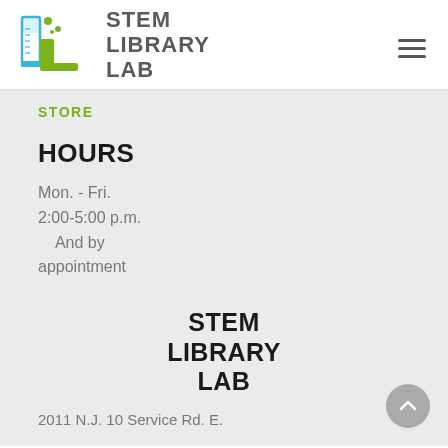[Figure (logo): STEM Library Lab logo with test tube and beaker graphic, text reads STEM LIBRARY LAB]
STORE
HOURS
Mon. - Fri.
2:00-5:00 p.m.
And by appointment
STEM
LIBRARY
LAB
2011 N.J. 10 Service Rd. E.